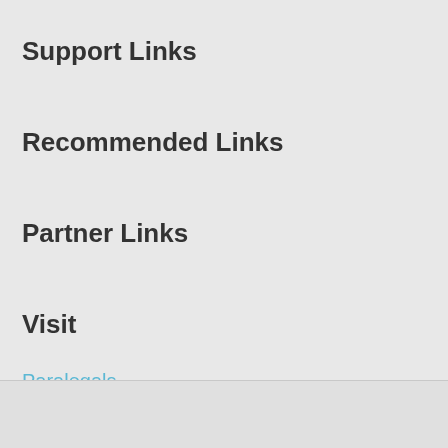Support Links
Recommended Links
Partner Links
Visit
Paralegals